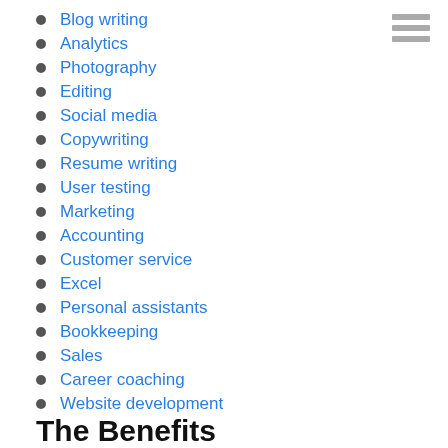Blog writing
Analytics
Photography
Editing
Social media
Copywriting
Resume writing
User testing
Marketing
Accounting
Customer service
Excel
Personal assistants
Bookkeeping
Sales
Career coaching
Website development
The Benefits